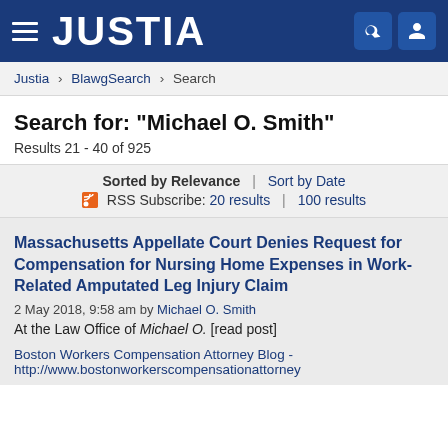JUSTIA
Justia › BlawgSearch › Search
Search for: "Michael O. Smith"
Results 21 - 40 of 925
Sorted by Relevance | Sort by Date
RSS Subscribe: 20 results | 100 results
Massachusetts Appellate Court Denies Request for Compensation for Nursing Home Expenses in Work-Related Amputated Leg Injury Claim
2 May 2018, 9:58 am by Michael O. Smith
At the Law Office of Michael O. [read post]
Boston Workers Compensation Attorney Blog -
http://www.bostonworkerscompensationattorney